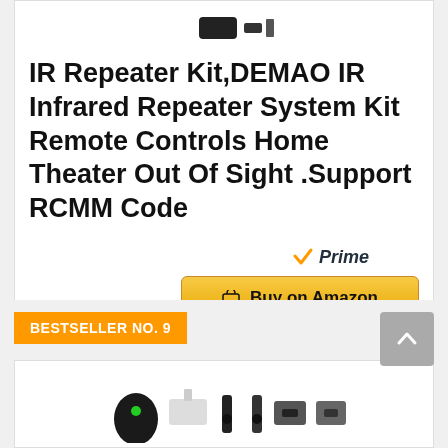[Figure (photo): Product image of IR Repeater Kit components (partially visible at top)]
IR Repeater Kit,DEMAO IR Infrared Repeater System Kit Remote Controls Home Theater Out Of Sight .Support RCMM Code
[Figure (logo): Amazon Prime checkmark badge with 'Prime' text in blue italic]
Buy on Amazon
BESTSELLER NO. 9
[Figure (photo): Second product image showing IR repeater kit components including USB dongle and emitters]